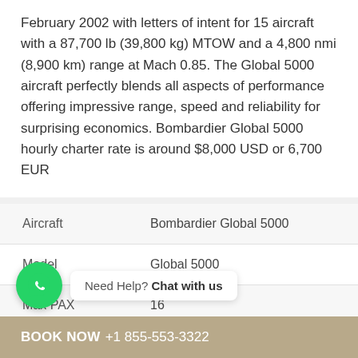February 2002 with letters of intent for 15 aircraft with a 87,700 lb (39,800 kg) MTOW and a 4,800 nmi (8,900 km) range at Mach 0.85. The Global 5000 aircraft perfectly blends all aspects of performance offering impressive range, speed and reliability for surprising economics. Bombardier Global 5000 hourly charter rate is around $8,000 USD or 6,700 EUR
|  |  |
| --- | --- |
| Aircraft | Bombardier Global 5000 |
| Model | Global 5000 |
| Max PAX | 16 |
| M... | ...ight entertainment, Wi-Fi |
BOOK NOW +1 855-553-3322